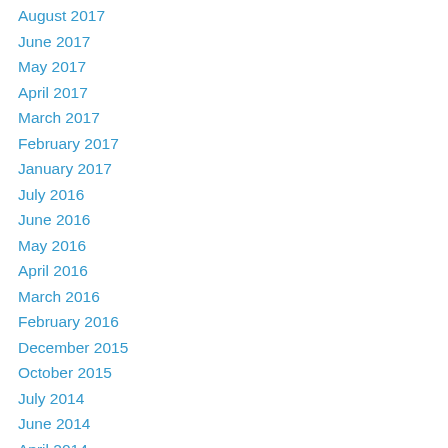August 2017
June 2017
May 2017
April 2017
March 2017
February 2017
January 2017
July 2016
June 2016
May 2016
April 2016
March 2016
February 2016
December 2015
October 2015
July 2014
June 2014
April 2014
March 2014
February 2014